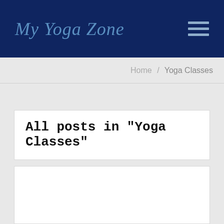My Yoga Zone
Home / Yoga Classes
All posts in "Yoga Classes"
[Figure (other): White article card placeholder, bottom of page]